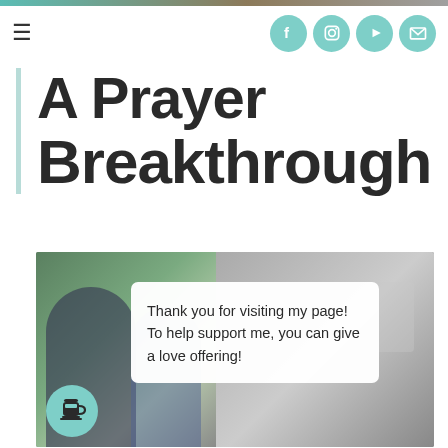A Prayer Breakthrough
[Figure (photo): Background photo of couple hugging, overlaid with a white popup box and coffee cup donation button]
Thank you for visiting my page! To help support me, you can give a love offering!